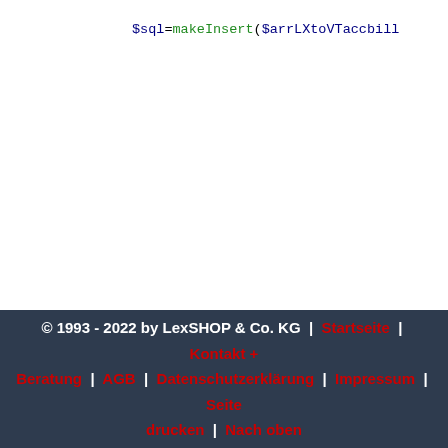$sql=makeInsert($arrLXtoVTaccbill
mysql_query($sql);

// 3. update vtiger_shipads
$arrLXtoVTaccshipads =array (
    "crmID" =&gt; "accountadd
    "Liefer_Ort" =&gt; "sh
    "Liefer_Plz" =&gt; "sh
    "Liefer_Land" =&gt; "sh
    //"" =&gt; "ship_state
    //"" =&gt; "ship_pobox
    "Liefer_Strasse" =
);
$sql=makeInsert($arrLXtoVTaccship
mysql_query($sql);
© 1993 - 2022 by LexSHOP & Co. KG | Startseite | Kontakt + Beratung | AGB | Datenschutzerklärung | Impressum | Seite drucken | Nach oben